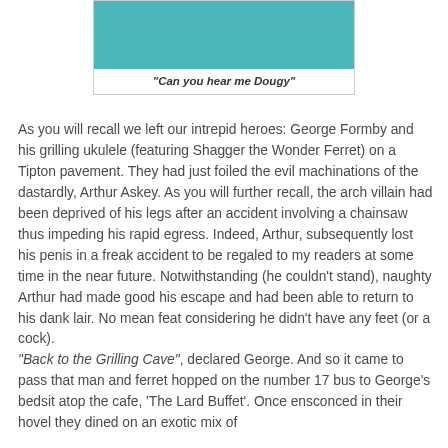[Figure (photo): Partial photo showing a teal/turquoise background, cropped at top]
"Can you hear me Dougy"
As you will recall we left our intrepid heroes: George Formby and his grilling ukulele (featuring Shagger the Wonder Ferret) on a Tipton pavement. They had just foiled the evil machinations of the dastardly, Arthur Askey. As you will further recall, the arch villain had been deprived of his legs after an accident involving a chainsaw thus impeding his rapid egress. Indeed, Arthur, subsequently lost his penis in a freak accident to be regaled to my readers at some time in the near future. Notwithstanding (he couldn't stand), naughty Arthur had made good his escape and had been able to return to his dank lair. No mean feat considering he didn't have any feet (or a cock).
"Back to the Grilling Cave", declared George. And so it came to pass that man and ferret hopped on the number 17 bus to George's bedsit atop the cafe, 'The Lard Buffet'. Once ensconced in their hovel they dined on an exotic mix of